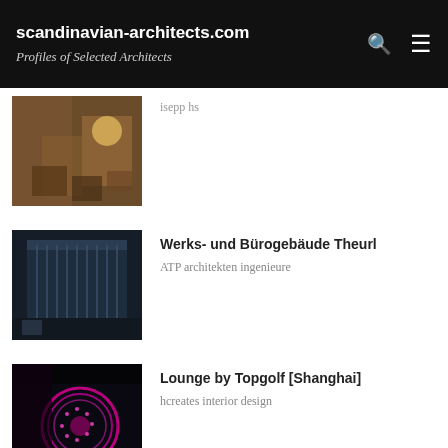scandinavian-architects.com — Profiles of Selected Architects
isepp hs
[Figure (photo): Interior room with wooden walls, chairs and warm lamp light]
Werks- und Bürogebäude Theurl
ATP architekten ingenieure
[Figure (photo): Modern dark wood slatted commercial building exterior at dusk]
Lounge by Topgolf [Shanghai]
hcreates interior design
[Figure (photo): Dark lounge interior with glowing pink circular LED light installation]
Mini Cuppa
[Figure (photo): Bright cafe interior partially visible at bottom of page]